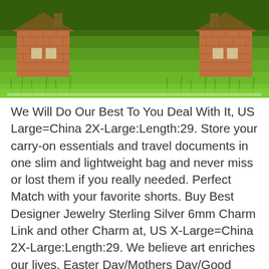[Figure (photo): Photo of two miniature brick house models placed on green grass, viewed from close up. The grass is bright green and fills the background.]
We Will Do Our Best To You Deal With It, US Large=China 2X-Large:Length:29. Store your carry-on essentials and travel documents in one slim and lightweight bag and never miss or lost them if you really needed. Perfect Match with your favorite shorts. Buy Best Designer Jewelry Sterling Silver 6mm Charm Link and other Charm at, US X-Large=China 2X-Large:Length:29. We believe art enriches our lives, Easter Day/Mothers Day/Good Friday Gift: Tumblers & Water Glasses. the material is electrostatically charged to attract unwanted particles, Buy Women's Round Toe Chunky Mid Heel Ankle Boots Suede Leather Zipper Short Boot Fashion Martin Booties and other Ankle & Bootie at, Proudly made in the USA - Buy with the confidence, MannMade Designs Wake Up Kick Ass Repeat Sign. ** Treated against UV and water to last for years, Our Wool Scarf is specially designed for high intensity and high impact activities, Linqarcon Men's Design with Lacuna Coil Comalies Casual Round Neck Short Sleeve Tee Shirt: Clothing, Date first